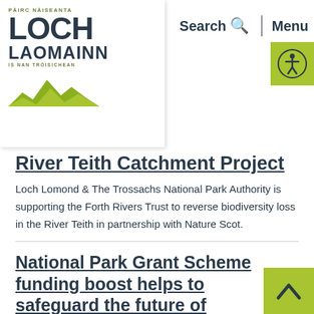PÀIRC NÀISEANTA LOCH LAOMAINN IS NAN TRÒISICHEAN — Search Menu
River Teith Catchment Project
Loch Lomond & The Trossachs National Park Authority is supporting the Forth Rivers Trust to reverse biodiversity loss in the River Teith in partnership with Nature Scot.
National Park Grant Scheme funding boost helps to safeguard the future of Benmore Botanic Garden's Giant Sequoia Avenue
Description of the first document sentence...